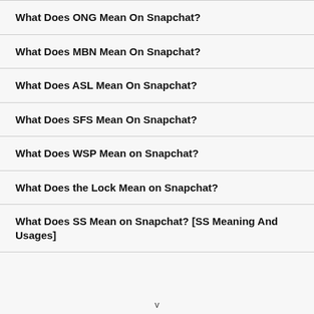What Does ONG Mean On Snapchat?
What Does MBN Mean On Snapchat?
What Does ASL Mean On Snapchat?
What Does SFS Mean On Snapchat?
What Does WSP Mean on Snapchat?
What Does the Lock Mean on Snapchat?
What Does SS Mean on Snapchat? [SS Meaning And Usages]
v